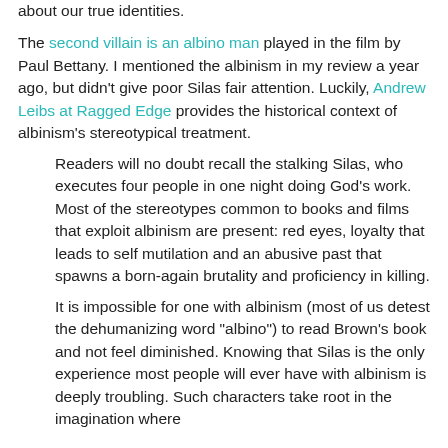about our true identities.
The second villain is an albino man played in the film by Paul Bettany. I mentioned the albinism in my review a year ago, but didn't give poor Silas fair attention. Luckily, Andrew Leibs at Ragged Edge provides the historical context of albinism's stereotypical treatment.
Readers will no doubt recall the stalking Silas, who executes four people in one night doing God's work. Most of the stereotypes common to books and films that exploit albinism are present: red eyes, loyalty that leads to self mutilation and an abusive past that spawns a born-again brutality and proficiency in killing.
It is impossible for one with albinism (most of us detest the dehumanizing word "albino") to read Brown's book and not feel diminished. Knowing that Silas is the only experience most people will ever have with albinism is deeply troubling. Such characters take root in the imagination where they can perpetuate the myths that already